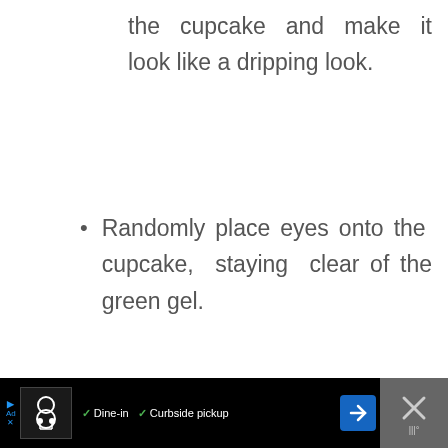the cupcake and make it look like a dripping look.
Randomly place eyes onto the cupcake, staying clear of the green gel.
[Figure (photo): Gray placeholder image area for a photo of a cupcake]
Ad • Dine-in ✓ Curbside pickup [navigation and close buttons]